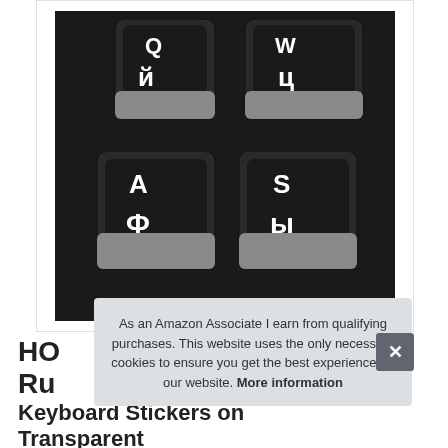[Figure (photo): Close-up photo of keyboard keys showing Q/й, W/ц, A/ф, S/ы keys with Russian Cyrillic stickers on black keys]
As an Amazon Associate I earn from qualifying purchases. This website uses the only necessary cookies to ensure you get the best experience on our website. More information
HO
Ru
Keyboard Stickers on Transparent